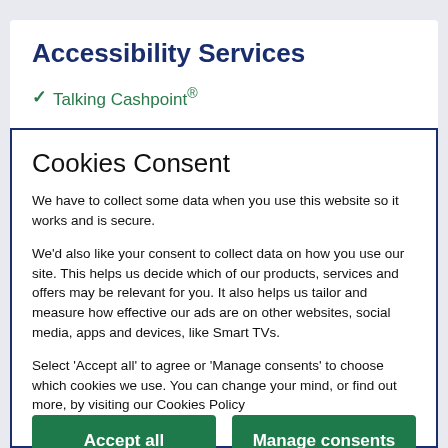Accessibility Services
✓ Talking Cashpoint®
Cookies Consent
We have to collect some data when you use this website so it works and is secure.
We'd also like your consent to collect data on how you use our site. This helps us decide which of our products, services and offers may be relevant for you. It also helps us tailor and measure how effective our ads are on other websites, social media, apps and devices, like Smart TVs.
Select 'Accept all' to agree or 'Manage consents' to choose which cookies we use. You can change your mind, or find out more, by visiting our Cookies Policy
Accept all
Manage consents